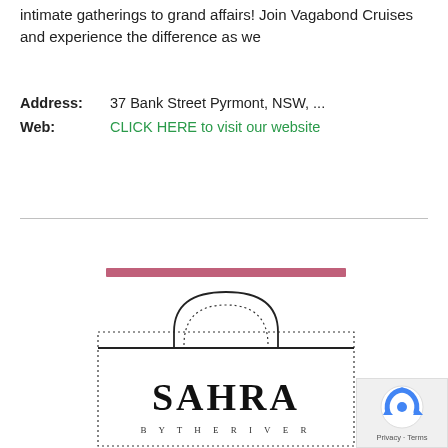intimate gatherings to grand affairs! Join Vagabond Cruises and experience the difference as we
Address: 37 Bank Street Pyrmont, NSW, ...
Web: CLICK HERE to visit our website
[Figure (logo): Sahra By The River logo with Moorish arch outline, dotted border rectangle, and text SAHRA BY THE RIVER]
[Figure (other): Google reCAPTCHA widget with privacy and terms link]